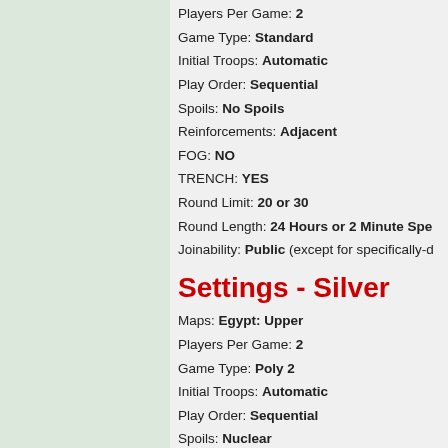Game Type: Standard
Initial Troops: Automatic
Play Order: Sequential
Spoils: No Spoils
Reinforcements: Adjacent
FOG: NO
TRENCH: YES
Round Limit: 20 or 30
Round Length: 24 Hours or 2 Minute Spe...
Joinability: Public (except for specifically-d...
Settings - Silver
Maps: Egypt: Upper
Players Per Game: 2
Game Type: Poly 2
Initial Troops: Automatic
Play Order: Sequential
Spoils: Nuclear
Reinforcements: Parachute
FOG: YES
TRENCH: YES
Round Limit: 20 or 30
Round Length: 24 Hours or 2 Minute Spe...
Joinability: Public (except for specificall...